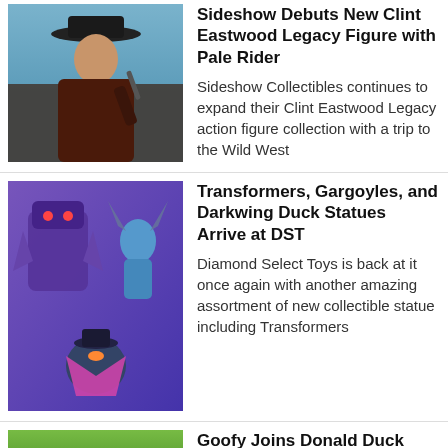[Figure (photo): Clint Eastwood as Pale Rider character holding a gun, wearing a dark coat and top hat, blue sky background]
Sideshow Debuts New Clint Eastwood Legacy Figure with Pale Rider
Sideshow Collectibles continues to expand their Clint Eastwood Legacy action figure collection with a trip to the Wild West
[Figure (photo): Transformers, Gargoyles, and Darkwing Duck collectible statues from Diamond Select Toys]
Transformers, Gargoyles, and Darkwing Duck Statues Arrive at DST
Diamond Select Toys is back at it once again with another amazing assortment of new collectible statue including Transformers
[Figure (photo): Goofy and Donald Duck collectible figure, green background]
Goofy Joins Donald Duck